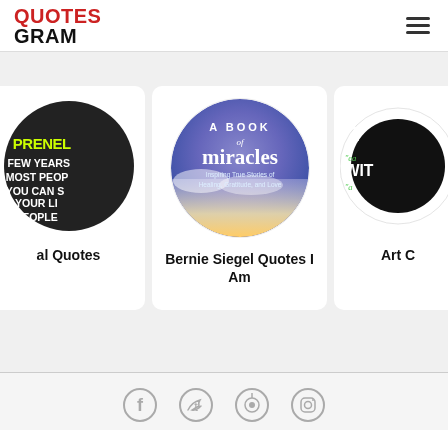QUOTES GRAM
[Figure (screenshot): QuotesGram website screenshot showing three quote image cards: 'al Quotes', 'Bernie Siegel Quotes I Am', 'Art C'. Center card shows 'A Book of Miracles' book cover in circular format.]
al Quotes
Bernie Siegel Quotes I Am
Art C
[Figure (other): Social media icons row showing Facebook, Twitter, Pinterest/Podcast, and Instagram icons in gray]